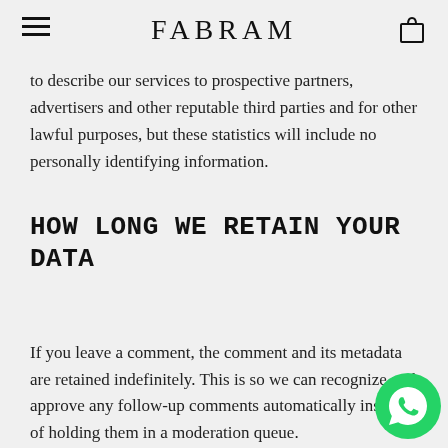FABRAM
to describe our services to prospective partners, advertisers and other reputable third parties and for other lawful purposes, but these statistics will include no personally identifying information.
HOW LONG WE RETAIN YOUR DATA
If you leave a comment, the comment and its metadata are retained indefinitely. This is so we can recognize and approve any follow-up comments automatically instead of holding them in a moderation queue.